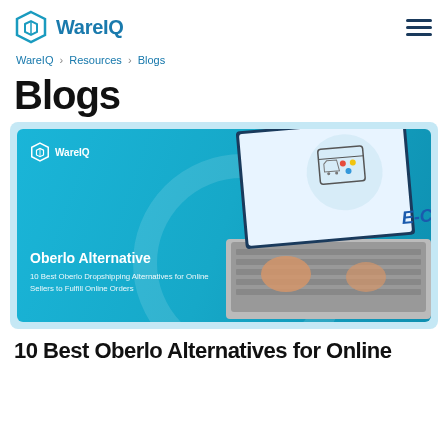WareIQ
WareIQ > Resources > Blogs
Blogs
[Figure (illustration): WareIQ blog card banner showing teal/blue gradient background with WareIQ logo, title 'Oberlo Alternative', subtitle '10 Best Oberlo Dropshipping Alternatives for Online Sellers to Fulfill Online Orders', and a laptop displaying E-Commerce text with shopping cart graphic]
10 Best Oberlo Alternatives for Online